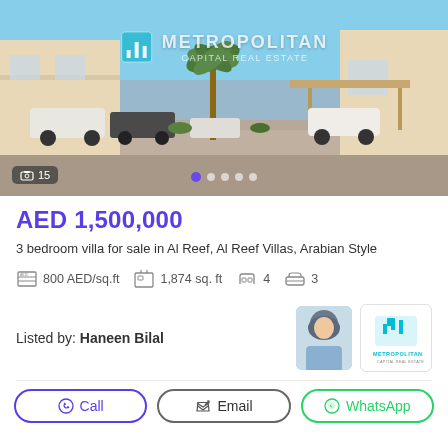[Figure (photo): Exterior photo of a villa community in Al Reef showing parked cars, palm trees, beige/cream colored villas, and covered parking areas under blue sky. Metropolitan Capital Real Estate watermark visible.]
AED 1,500,000
3 bedroom villa for sale in Al Reef, Al Reef Villas, Arabian Style
800 AED/sq.ft   1,874 sq. ft   4   3
Listed by: Haneen Bilal